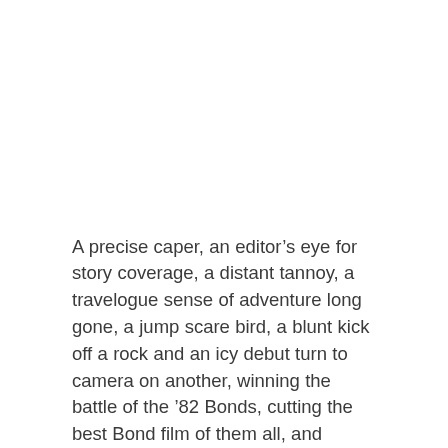A precise caper, an editor's eye for story coverage, a distant tannoy, a travelogue sense of adventure long gone, a jump scare bird, a blunt kick off a rock and an icy debut turn to camera on another, winning the battle of the '82 Bonds, cutting the best Bond film of them all, and